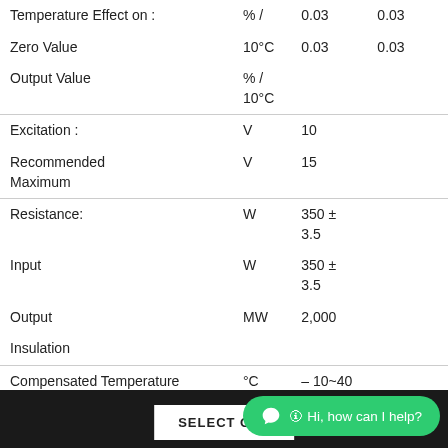| Parameter | Unit | Value1 | Value2 |
| --- | --- | --- | --- |
| Temperature Effect on : | % / | 0.03 | 0.03 |
| Zero Value | 10°C | 0.03 | 0.03 |
| Output Value | % /
10°C |  |  |
| Excitation : | V | 10 |  |
| Recommended Maximum | V | 15 |  |
| Resistance: | W | 350 ± 3.5 |  |
| Input | W | 350 ± 3.5 |  |
| Output | MW | 2,000 |  |
| Insulation |  |  |  |
| Compensated Temperature Range | °C | – 10~40 |  |